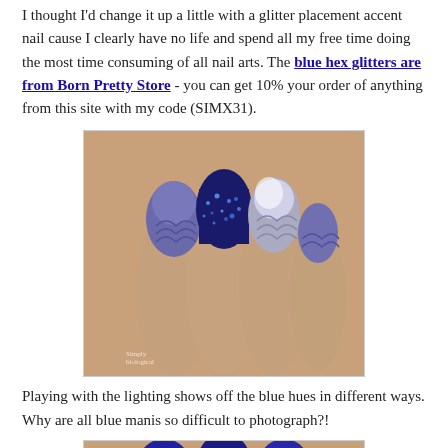I thought I'd change it up a little with a glitter placement accent nail cause I clearly have no life and spend all my free time doing the most time consuming of all nail arts. The blue hex glitters are from Born Pretty Store - you can get 10% your order of anything from this site with my code (SIMX31).
[Figure (photo): Close-up photo of a hand showing nail art with blue, purple, and silver gradient nails with glitter and scale/cloud patterns]
Playing with the lighting shows off the blue hues in different ways. Why are all blue manis so difficult to photograph?!
[Figure (photo): Partial photo of fingers with blue nail art, bottom portion of image]